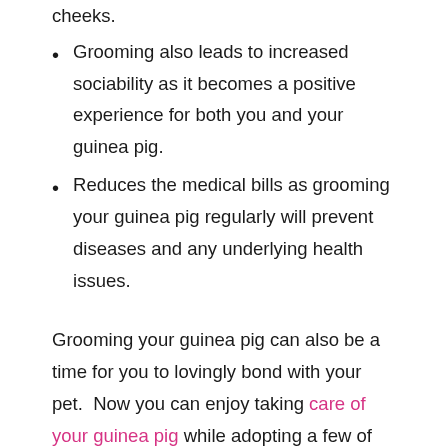cheeks.
Grooming also leads to increased sociability as it becomes a positive experience for both you and your guinea pig.
Reduces the medical bills as grooming your guinea pig regularly will prevent diseases and any underlying health issues.
Grooming your guinea pig can also be a time for you to lovingly bond with your pet.  Now you can enjoy taking care of your guinea pig while adopting a few of the above mentioned tips for a healthy and happy pet.